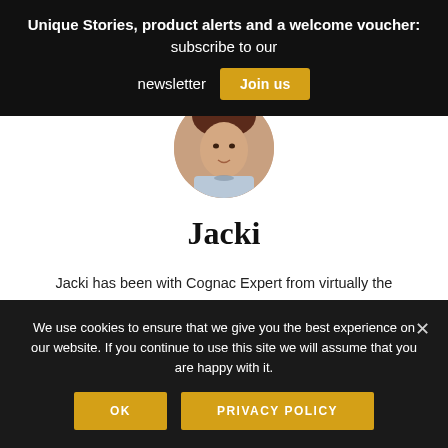Unique Stories, product alerts and a welcome voucher: subscribe to our newsletter Join us
[Figure (photo): Circular profile photo of Jacki, partially visible woman with historical/portrait style clothing]
Jacki
Jacki has been with Cognac Expert from virtually the beginning. She's the senior editor of the blog, and has spent much of her life living in rural France. Today she's based back in the UK, where she splits her working life between writing for Cognac Expert and working as a Paramedic at a large...
We use cookies to ensure that we give you the best experience on our website. If you continue to use this site we will assume that you are happy with it.